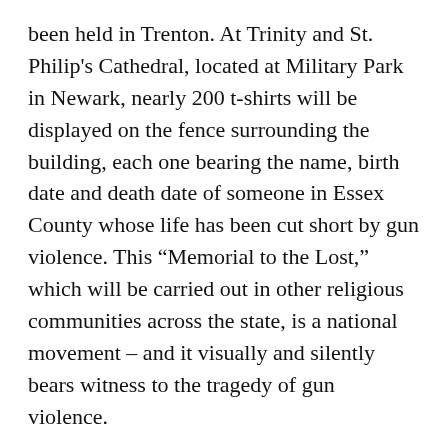been held in Trenton. At Trinity and St. Philip's Cathedral, located at Military Park in Newark, nearly 200 t-shirts will be displayed on the fence surrounding the building, each one bearing the name, birth date and death date of someone in Essex County whose life has been cut short by gun violence. This “Memorial to the Lost,” which will be carried out in other religious communities across the state, is a national movement – and it visually and silently bears witness to the tragedy of gun violence.
All these and other activities expose an unholy trinity of poverty, racism and gun violence. Poverty is a manifestation of economic violence; racism is a mindset of enshrining the rights and privileges of one ethnic group over another, which engages psychological or spiritual violence at least, or gun